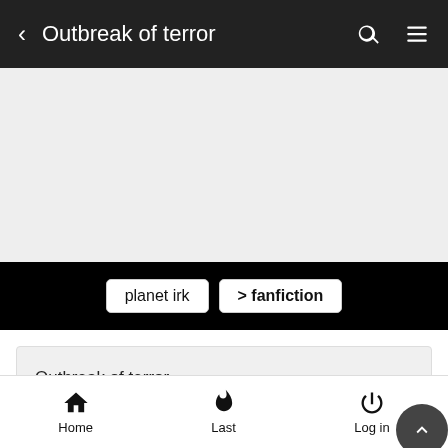< Outbreak of terror
[Figure (other): Grey advertisement placeholder area]
planet irk  > fanfiction
Outbreak of terror
Mon Aug 30, 2010 2:05 pm
Home  Last  Log in